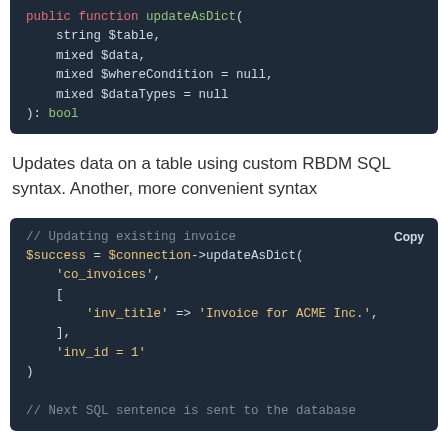[Figure (screenshot): Code block showing PHP function signature: public function updateAsDict( string $table, mixed $data, mixed $whereCondition = null, mixed $dataTypes = null ): bool]
Updates data on a table using custom RBDM SQL syntax. Another, more convenient syntax
[Figure (screenshot): Code block showing PHP usage example of updateAsDict with $connection->updateAsDict('co_invoices', ['inv_title' => 'Invoice for ACME Inc.',], 'inv_id = 1') and comment // Next SQL sentence is sent to the database]